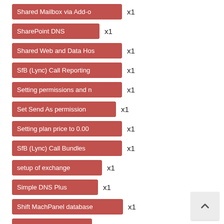Shared Mailbox via Add-on x1
SharePoint DNS x1
Shared Web and Data Hos... x1
SfB (Lync) Call Reporting x1
Setting permissions and n... x1
Set Send As permission x1
Setting plan price to 0.00 x1
SfB (Lync) Call Bundles x1
setup of exchange x1
Simple DNS Plus x1
Shift MachPanel database x1
Single sign on x1